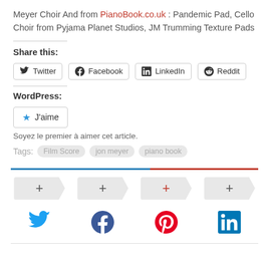Meyer Choir And from PianoBook.co.uk : Pandemic Pad, Cello Choir from Pyjama Planet Studios, JM Trumming Texture Pads
Share this:
Twitter | Facebook | LinkedIn | Reddit
WordPress:
J'aime
Soyez le premier à aimer cet article.
Tags: Film Score  jon meyer  piano book